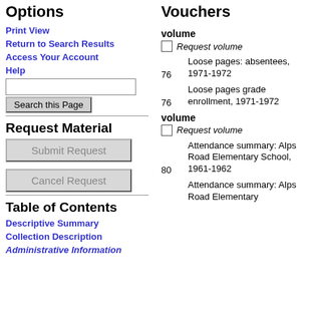Options
Print View
Return to Search Results
Access Your Account
Help
Request Material
Table of Contents
Descriptive Summary
Collection Description
Administrative Information
Vouchers
volume
Request volume
76   Loose pages: absentees, 1971-1972
76   Loose pages grade enrollment, 1971-1972
volume
Request volume
80   Attendance summary: Alps Road Elementary School, 1961-1962
Attendance summary: Alps Road Elementary